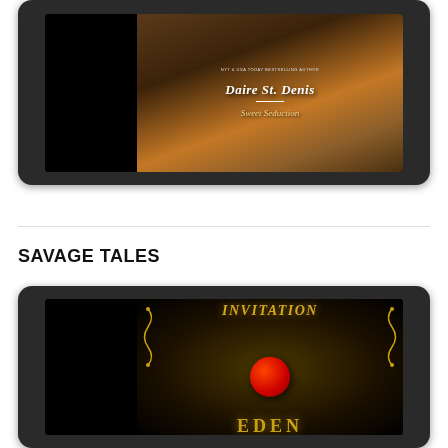[Figure (photo): E-reader device displaying book cover for 'Sweet Seduction' by Daire St. Denis, showing a romantic couple and pastries]
SAVAGE TALES
[Figure (photo): E-reader device displaying book cover for 'Invitation to Eden' with ornate gold design and red apple motif]